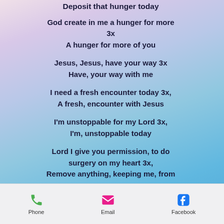Deposit that hunger today
God create in me a hunger for more
3x
A hunger for more of you
Jesus, Jesus, have your way 3x
Have, your way with me
I need a fresh encounter today 3x,
A fresh, encounter with Jesus
I'm unstoppable for my Lord 3x,
I'm, unstoppable today
Lord I give you permission, to do surgery on my heart 3x,
Remove anything, keeping me, from you
Phone   Email   Facebook